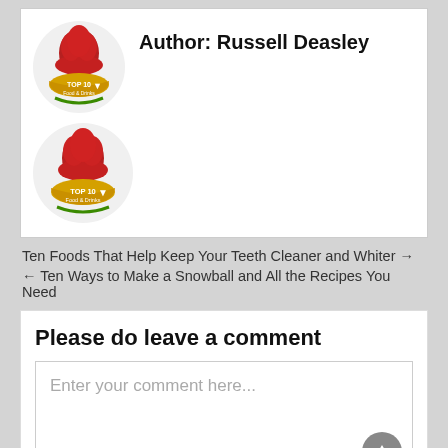[Figure (logo): Top 10 Food and Drinks logo with chef hat, circular badge, shown twice. Author card with two logo images and author name.]
Author: Russell Deasley
Ten Foods That Help Keep Your Teeth Cleaner and Whiter →
← Ten Ways to Make a Snowball and All the Recipes You Need
Please do leave a comment
Enter your comment here...